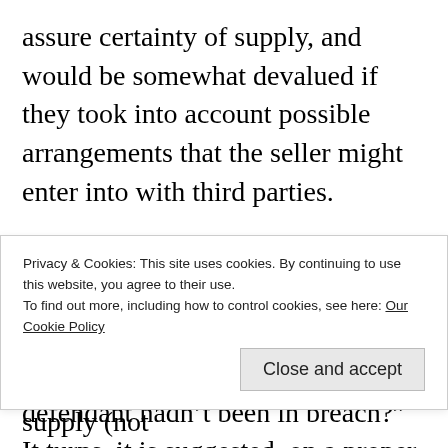assure certainty of supply, and would be somewhat devalued if they took into account possible arrangements that the seller might enter into with third parties.
The damages point is an awkward one, as is always the case with the fiendish counterfactual question "what would have happened if the defendant hadn't been in breach?" It turns, it is suggested, on a proper
Privacy & Cookies: This site uses cookies. By continuing to use this website, you agree to their use.
To find out more, including how to control cookies, see here: Our Cookie Policy
most to 100/130 of its capacity to supply (not